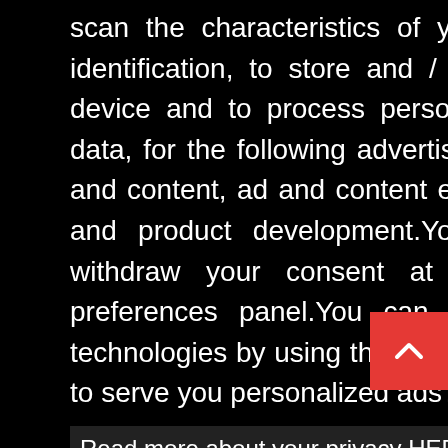[Figure (screenshot): Cookie consent modal overlay on a webpage. Black background modal with white text describing data processing and advertising purposes. Contains a 'Read more about your privacy HERE' link, a 'Decline' button and a yellow 'Got it!' button. Partially visible white background webpage text on the right side. Red scroll-to-top button at bottom right. Bottom text partially visible.]